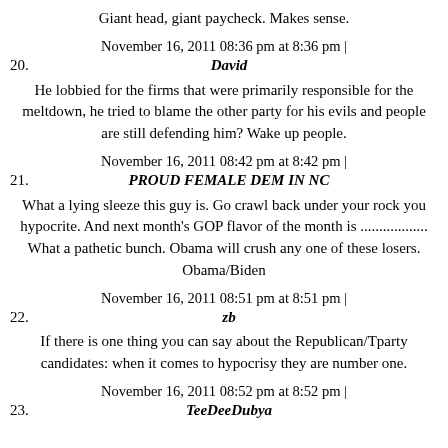Giant head, giant paycheck. Makes sense.
November 16, 2011 08:36 pm at 8:36 pm |
20. David
He lobbied for the firms that were primarily responsible for the meltdown, he tried to blame the other party for his evils and people are still defending him? Wake up people.
November 16, 2011 08:42 pm at 8:42 pm |
21. PROUD FEMALE DEM IN NC
What a lying sleeze this guy is. Go crawl back under your rock you hypocrite. And next month's GOP flavor of the month is .................. What a pathetic bunch. Obama will crush any one of these losers. Obama/Biden
November 16, 2011 08:51 pm at 8:51 pm |
22. zb
If there is one thing you can say about the Republican/Tparty candidates: when it comes to hypocrisy they are number one.
November 16, 2011 08:52 pm at 8:52 pm |
23. TeeDeeDubya